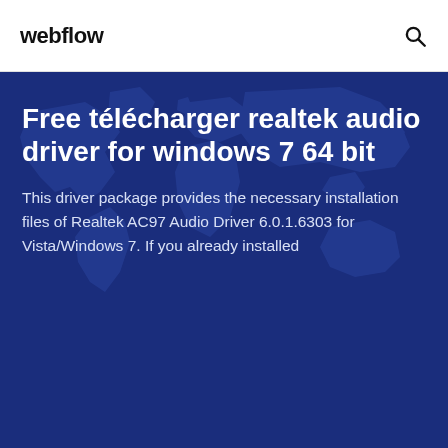webflow
Free télécharger realtek audio driver for windows 7 64 bit
This driver package provides the necessary installation files of Realtek AC97 Audio Driver 6.0.1.6303 for Vista/Windows 7. If you already installed